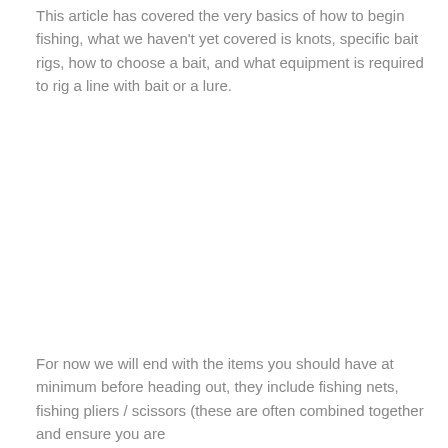This article has covered the very basics of how to begin fishing, what we haven't yet covered is knots, specific bait rigs, how to choose a bait, and what equipment is required to rig a line with bait or a lure.
For now we will end with the items you should have at minimum before heading out, they include fishing nets, fishing pliers / scissors (these are often combined together and ensure you are